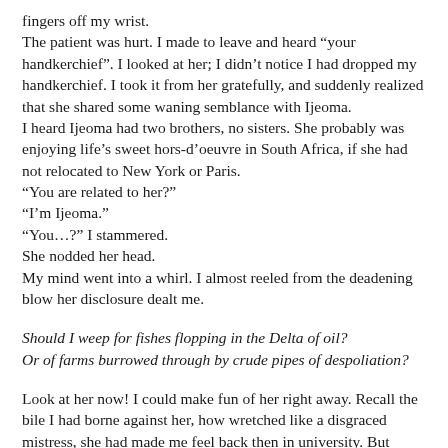fingers off my wrist.
The patient was hurt. I made to leave and heard “your handkerchief”. I looked at her; I didn’t notice I had dropped my handkerchief. I took it from her gratefully, and suddenly realized that she shared some waning semblance with Ijeoma.
I heard Ijeoma had two brothers, no sisters. She probably was enjoying life’s sweet hors-d’oeuvre in South Africa, if she had not relocated to New York or Paris.
“You are related to her?”
“I’m Ijeoma.”
“You…?” I stammered.
She nodded her head.
My mind went into a whirl. I almost reeled from the deadening blow her disclosure dealt me.
Should I weep for fishes flopping in the Delta of oil?
Or of farms burrowed through by crude pipes of despoliation?
Look at her now! I could make fun of her right away. Recall the bile I had borne against her, how wretched like a disgraced mistress, she had made me feel back then in university. But something stronger than glee overwhelmed me. Swiftly, pity swept me into its humbling hold.
How could I accept her in her ‘new’ looks? Ijeoma was born beautiful. Nothing could wilt her flesh. She was not bony and long